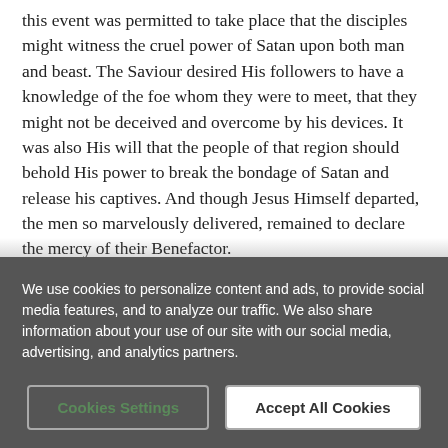this event was permitted to take place that the disciples might witness the cruel power of Satan upon both man and beast. The Saviour desired His followers to have a knowledge of the foe whom they were to meet, that they might not be deceived and overcome by his devices. It was also His will that the people of that region should behold His power to break the bondage of Satan and release his captives. And though Jesus Himself departed, the men so marvelously delivered, remained to declare the mercy of their Benefactor.
Other instances of a similar nature are recorded in the Scriptures. The daughter of the Syrophoenician...
We use cookies to personalize content and ads, to provide social media features, and to analyze our traffic. We also share information about your use of our site with our social media, advertising, and analytics partners.